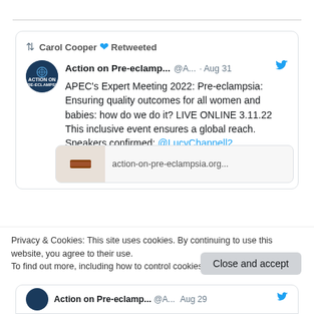[Figure (screenshot): Screenshot of a Twitter/web page showing a retweeted post by Carol Cooper about Action on Pre-eclampsia's Expert Meeting 2022 event, with a cookie consent banner at the bottom.]
Carol Cooper ❤ Retweeted
Action on Pre-eclamp... @A... · Aug 31
APEC's Expert Meeting 2022: Pre-eclampsia: Ensuring quality outcomes for all women and babies: how do we do it? LIVE ONLINE 3.11.22 This inclusive event ensures a global reach. Speakers confirmed: @LucyChappell2 @HuddlestonNigel BOOK: action-on-pre-eclampsia.org.uk/apecs-annual-e…
action-on-pre-eclampsia.org...
Privacy & Cookies: This site uses cookies. By continuing to use this website, you agree to their use.
To find out more, including how to control cookies, see here: Cookie Policy
Close and accept
Action on Pre-eclamp... @A... Aug 29